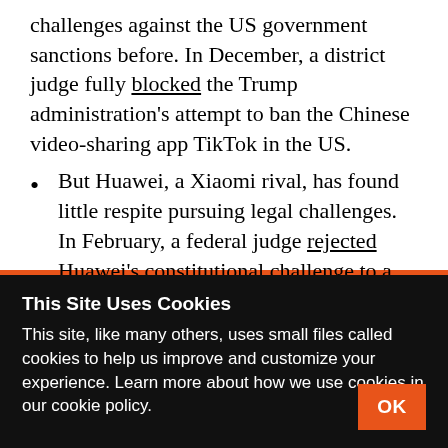challenges against the US government sanctions before. In December, a district judge fully blocked the Trump administration's attempt to ban the Chinese video-sharing app TikTok in the US.
But Huawei, a Xiaomi rival, has found little respite pursuing legal challenges. In February, a federal judge rejected Huawei's constitutional challenge to a US law that restricts it from doing business with US federal agencies.
This Site Uses Cookies
This site, like many others, uses small files called cookies to help us improve and customize your experience. Learn more about how we use cookies in our cookie policy.